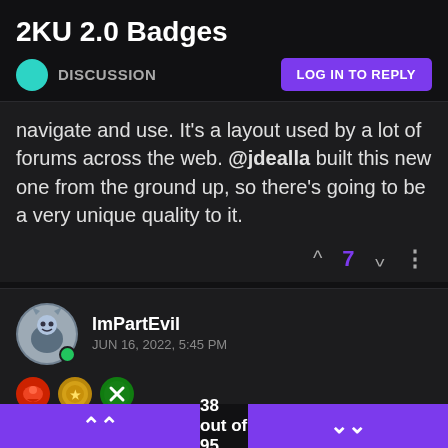2KU 2.0 Badges
DISCUSSION
navigate and use. It's a layout used by a lot of forums across the web. @jdealla built this new one from the ground up, so there's going to be a very unique quality to it.
ImPartEvil   JUN 16, 2022, 5:45 PM
Perhaps one for who has the best shoe/basketball card
38 out of 95